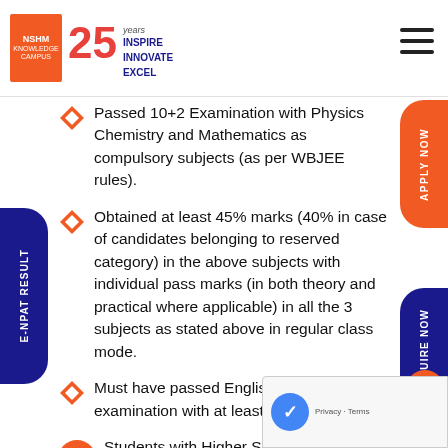NSHM Knowledge Campus — 25 years Inspire Innovate Excel
Passed 10+2 Examination with Physics Chemistry and Mathematics as compulsory subjects (as per WBJEE rules).
Obtained at least 45% marks (40% in case of candidates belonging to reserved category) in the above subjects with individual pass marks (in both theory and practical where applicable) in all the 3 subjects as stated above in regular class mode.
Must have passed English in X & XII examination with at least 30% marks.
Students with Higher Secondary (10 + 2, Science) equivalent examination and have qualified Joint Entrance Examination (Main) Conducted by Central Board of Secondary Education or the Joint Entrance